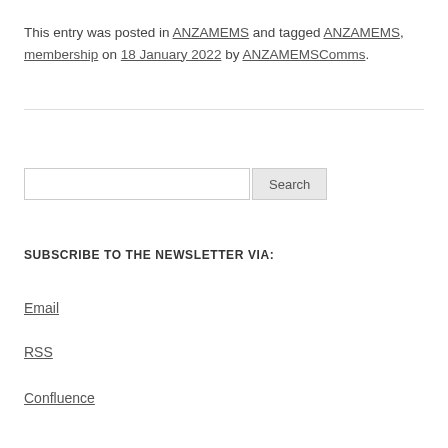This entry was posted in ANZAMEMS and tagged ANZAMEMS, membership on 18 January 2022 by ANZAMEMSComms.
Search
SUBSCRIBE TO THE NEWSLETTER VIA:
Email
RSS
Confluence